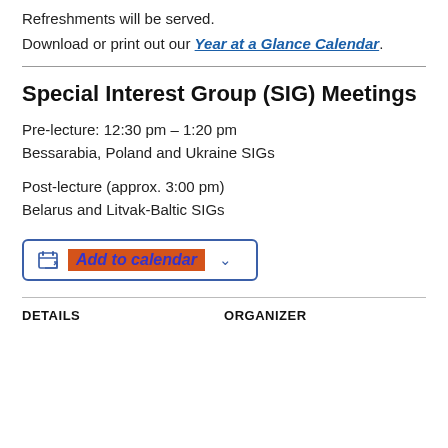Refreshments will be served.
Download or print out our Year at a Glance Calendar.
Special Interest Group (SIG) Meetings
Pre-lecture: 12:30 pm – 1:20 pm
Bessarabia, Poland and Ukraine SIGs
Post-lecture (approx. 3:00 pm)
Belarus and Litvak-Baltic SIGs
[Figure (other): Add to calendar button with calendar icon and dropdown chevron]
DETAILS
ORGANIZER